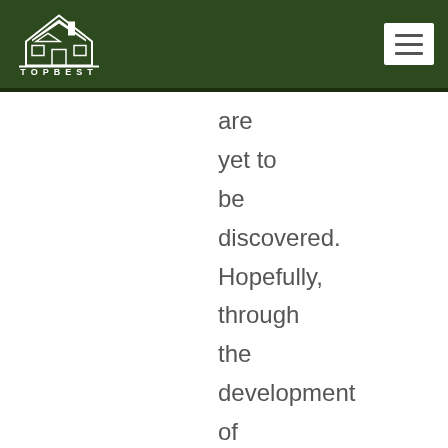TOPBEST
are yet to be discovered. Hopefully, through the development of advanced equipment and the